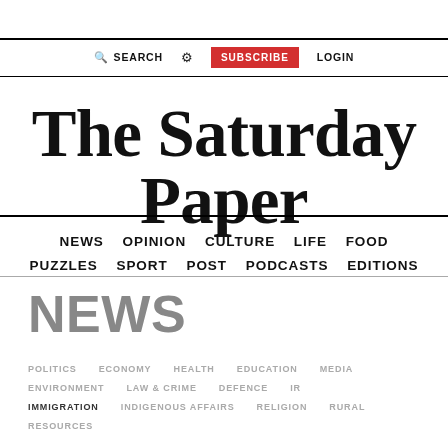SEARCH  ⚙  SUBSCRIBE  LOGIN
The Saturday Paper
NEWS  OPINION  CULTURE  LIFE  FOOD  PUZZLES  SPORT  POST  PODCASTS  EDITIONS
NEWS
POLITICS   ECONOMY   HEALTH   EDUCATION   MEDIA   ENVIRONMENT   LAW & CRIME   DEFENCE   IR   IMMIGRATION   INDIGENOUS AFFAIRS   RELIGION   RURAL   RESOURCES